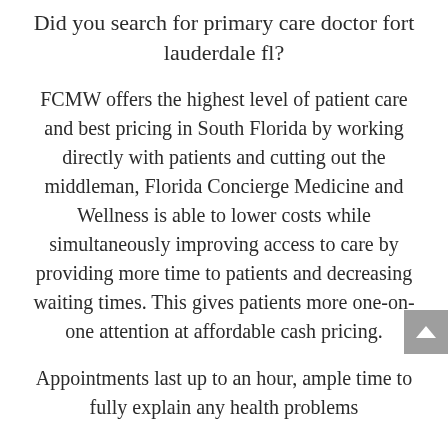Did you search for primary care doctor fort lauderdale fl?
FCMW offers the highest level of patient care and best pricing in South Florida by working directly with patients and cutting out the middleman, Florida Concierge Medicine and Wellness is able to lower costs while simultaneously improving access to care by providing more time to patients and decreasing waiting times. This gives patients more one-on-one attention at affordable cash pricing.
Appointments last up to an hour, ample time to fully explain any health problems